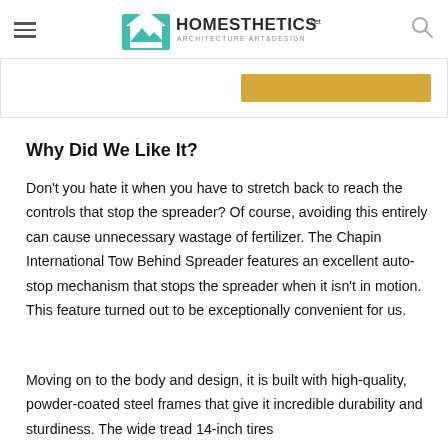Homesthetics — Architecture Art & Design
[Figure (other): Partial view of a card or banner with a yellow/gold button element visible on the right side]
Why Did We Like It?
Don't you hate it when you have to stretch back to reach the controls that stop the spreader? Of course, avoiding this entirely can cause unnecessary wastage of fertilizer. The Chapin International Tow Behind Spreader features an excellent auto-stop mechanism that stops the spreader when it isn't in motion. This feature turned out to be exceptionally convenient for us.
Moving on to the body and design, it is built with high-quality, powder-coated steel frames that give it incredible durability and sturdiness. The wide tread 14-inch tires